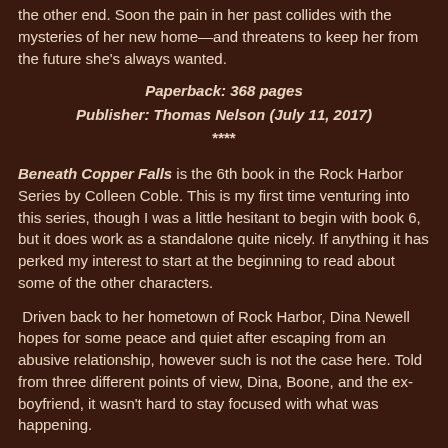the other end. Soon the pain in her past collides with the mysteries of her new home—and threatens to keep her from the future she's always wanted.
Paperback: 368 pages
Publisher: Thomas Nelson (July 11, 2017)
****
Beneath Copper Falls is the 6th book in the Rock Harbor Series by Colleen Coble. This is my first time venturing into this series, though I was a little hesitant to begin with book 6, but it does work as a standalone quite nicely. If anything it has perked my interest to start at the beginning to read about some of the other characters.
Driven back to her hometown of Rock Harbor, Dina Newell hopes for some peace and quiet after escaping from an abusive relationship, however such is not the case here. Told from three different points of view, Dina, Boone, and the ex-boyfriend, it wasn't hard to stay focused with what was happening.